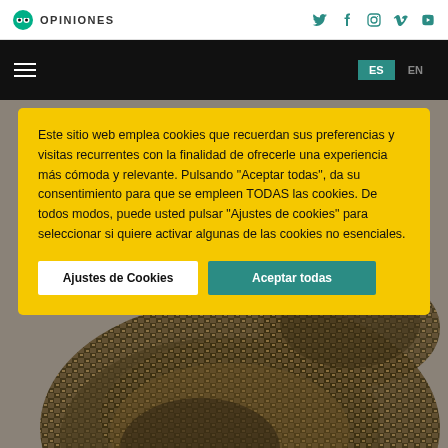OPINIONES
[Figure (screenshot): Navigation bar with hamburger menu on left and ES/EN language buttons on right against black background]
[Figure (photo): Background photo showing a coiled snake with brown and black patterned scales on a grey background]
Este sitio web emplea cookies que recuerdan sus preferencias y visitas recurrentes con la finalidad de ofrecerle una experiencia más cómoda y relevante. Pulsando "Aceptar todas", da su consentimiento para que se empleen TODAS las cookies. De todos modos, puede usted pulsar "Ajustes de cookies" para seleccionar si quiere activar algunas de las cookies no esenciales.
Ajustes de Cookies
Aceptar todas